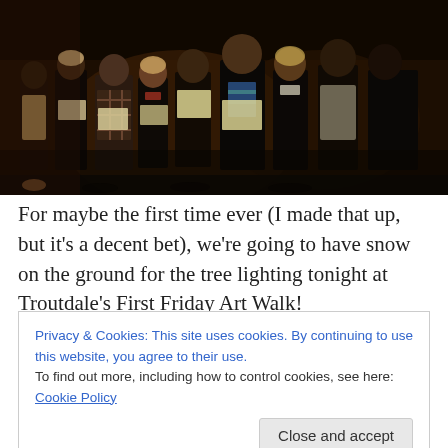[Figure (photo): Nighttime outdoor photo of a group of people, likely a choir, holding sheet music/songbooks and singing. Dark background, people wearing winter coats and scarves.]
For maybe the first time ever (I made that up, but it's a decent bet), we're going to have snow on the ground for the tree lighting tonight at Troutdale's First Friday Art Walk!
Privacy & Cookies: This site uses cookies. By continuing to use this website, you agree to their use.
To find out more, including how to control cookies, see here: Cookie Policy
Relax, find a wonderful gift or two at the Art Walk, and,